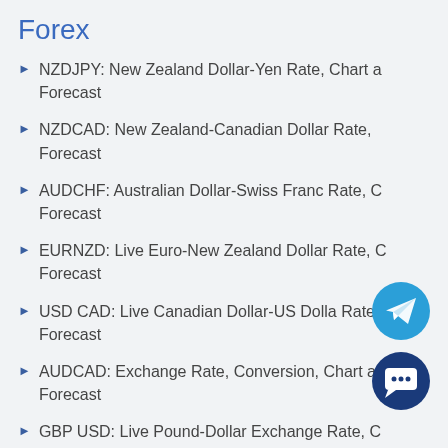Forex
NZDJPY: New Zealand Dollar-Yen Rate, Chart a... Forecast
NZDCAD: New Zealand-Canadian Dollar Rate, ... Forecast
AUDCHF: Australian Dollar-Swiss Franc Rate, C... Forecast
EURNZD: Live Euro-New Zealand Dollar Rate, C... Forecast
USD CAD: Live Canadian Dollar-US Dollar Rate... Forecast
AUDCAD: Exchange Rate, Conversion, Chart a... Forecast
GBP USD: Live Pound-Dollar Exchange Rate, C...